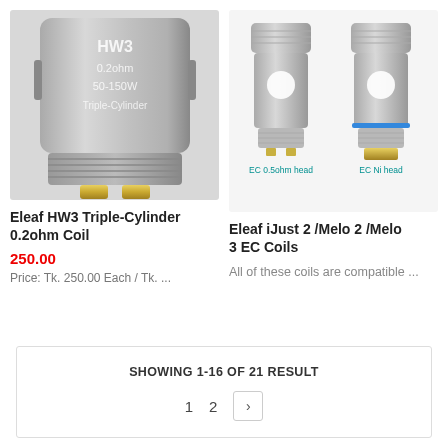[Figure (photo): Close-up photo of Eleaf HW3 Triple-Cylinder 0.2ohm coil, silver metal cylindrical coil head with text HW3 0.2ohm 50-150W Triple-Cylinder, gold-colored contacts at bottom]
Eleaf HW3 Triple-Cylinder 0.2ohm Coil
250.00
Price: Tk. 250.00 Each / Tk. ...
[Figure (photo): Photo of two Eleaf coil heads side by side: EC 0.5ohm head (plain silver) and EC Ni head (with blue ring and gold bottom), both small cylindrical metal coil heads with threaded sections]
Eleaf iJust 2 /Melo 2 /Melo 3 EC Coils
All of these coils are compatible ...
SHOWING 1-16 OF 21 RESULT
1  2  >